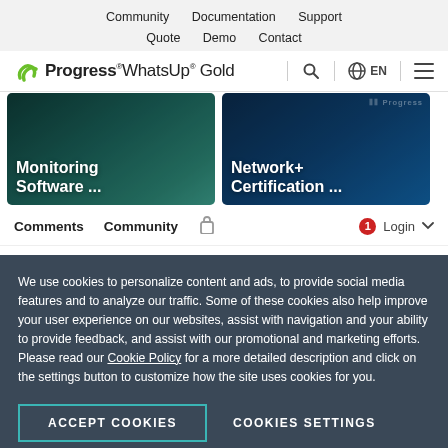Community  Documentation  Support
Quote  Demo  Contact
[Figure (logo): Progress WhatsUp Gold logo with green icon, search icon, EN language selector, and hamburger menu]
[Figure (illustration): Two image cards: left card with dark teal background showing 'Monitoring Software ...' text; right card with dark blue background showing 'Network+ Certification ...' text and Progress watermark]
Comments  Community  [lock icon]  [badge: 1]  Login
We use cookies to personalize content and ads, to provide social media features and to analyze our traffic. Some of these cookies also help improve your user experience on our websites, assist with navigation and your ability to provide feedback, and assist with our promotional and marketing efforts. Please read our Cookie Policy for a more detailed description and click on the settings button to customize how the site uses cookies for you.
ACCEPT COOKIES
COOKIES SETTINGS